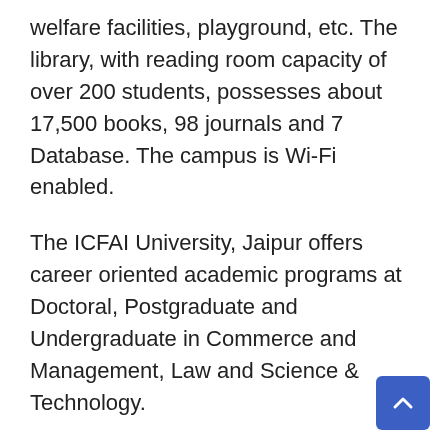welfare facilities, playground, etc. The library, with reading room capacity of over 200 students, possesses about 17,500 books, 98 journals and 7 Database. The campus is Wi-Fi enabled.
The ICFAI University, Jaipur offers career oriented academic programs at Doctoral, Postgraduate and Undergraduate in Commerce and Management, Law and Science & Technology.
The University follows the semester pattern for all its programs. Each academic year consists of two semesters and a summer term. Continuous evaluation through monthly tests, assignments, projects and quizzes etc. along